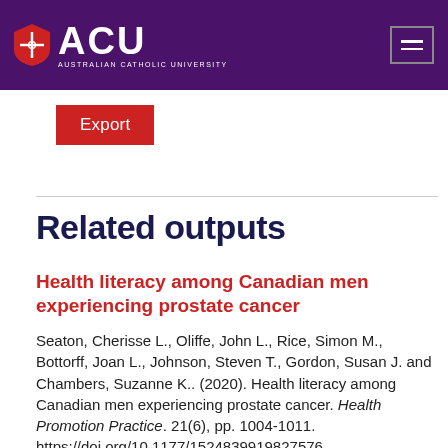[Figure (logo): Australian Catholic University (ACU) logo with shield icon and navigation hamburger button on purple header background]
Export
Related outputs
Health literacy among Canadian men experiencing prostate cancer
Seaton, Cherisse L., Oliffe, John L., Rice, Simon M., Bottorff, Joan L., Johnson, Steven T., Gordon, Susan J. and Chambers, Suzanne K.. (2020). Health literacy among Canadian men experiencing prostate cancer. Health Promotion Practice. 21(6), pp. 1004-1011. https://doi.org/10.1177/1524839919827576